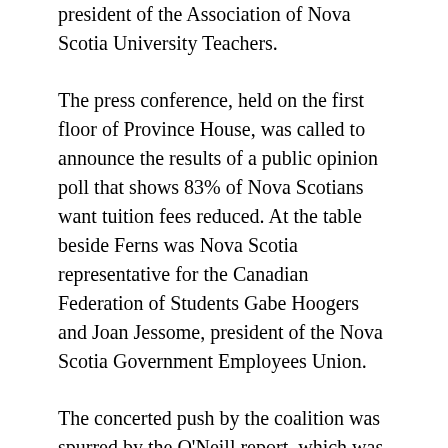president of the Association of Nova Scotia University Teachers.
The press conference, held on the first floor of Province House, was called to announce the results of a public opinion poll that shows 83% of Nova Scotians want tuition fees reduced. At the table beside Ferns was Nova Scotia representative for the Canadian Federation of Students Gabe Hoogers and Joan Jessome, president of the Nova Scotia Government Employees Union.
The concerted push by the coalition was spurred by the O'Neill report, which was commissioned by the premier's office to find savings within the post-secondary sector. Unfortunately, says the coalition, if the measures in the report were adopted, it would put the province's debt load squarely on the backs of Nova Scotian students. Namely, the report calls for the province to stop regulating tuition fees and let the universities charge what they want. While it does advocate for some level of increase to the student loans and grants system, the CFS argues that the system